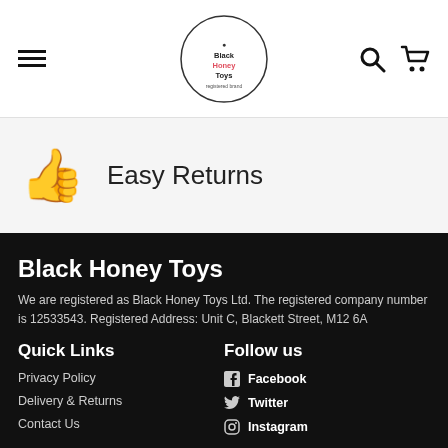[Figure (logo): Black Honey Toys circular logo with text]
Easy Returns
Black Honey Toys
We are registered as Black Honey Toys Ltd. The registered company number is 12533543. Registered Address: Unit C, Blackett Street, M12 6A
Quick Links
Follow us
Privacy Policy
Facebook
Delivery & Returns
Twitter
Contact Us
Instagram